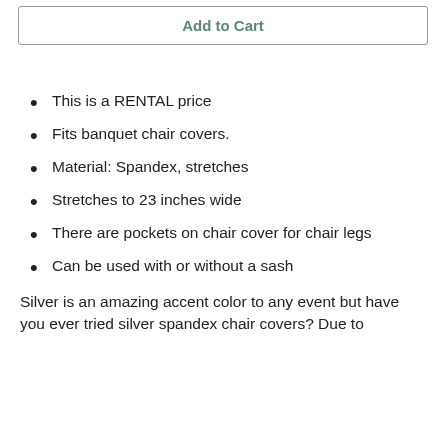Add to Cart
This is a RENTAL price
Fits banquet chair covers.
Material: Spandex, stretches
Stretches to 23 inches wide
There are pockets on chair cover for chair legs
Can be used with or without a sash
Silver is an amazing accent color to any event but have you ever tried silver spandex chair covers? Due to